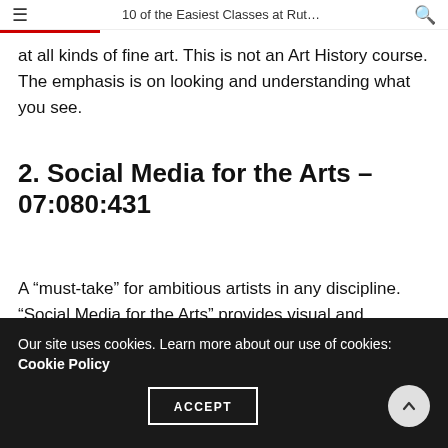10 of the Easiest Classes at Rut…
at all kinds of fine art. This is not an Art History course. The emphasis is on looking and understanding what you see.
2. Social Media for the Arts – 07:080:431
A “must-take” for ambitious artists in any discipline. “Social Media for the Arts” provides visual and performing artists with the skills to promote their work and advance their careers in today’s competitive market. By focusing on the most cutting-edge digital marketing tools, it teaches artists
Our site uses cookies. Learn more about our use of cookies: Cookie Policy